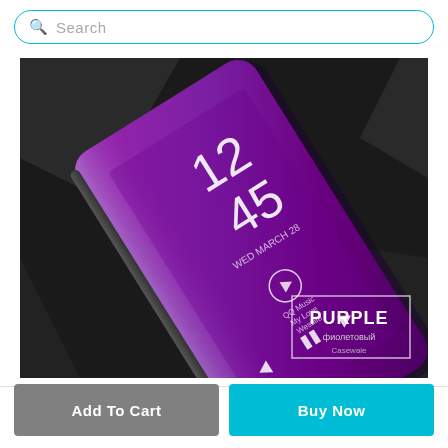Search
[Figure (photo): Purple mirror finish phone case (flip cover) on a dark background, showing a smartwatch-style lock screen with time 12:45, WED MARCH 28, and music controls for QQ Music - My Love by Westlife. A white box in the bottom right reads PURPLE (фиолетовый) with Casewale logo.]
Add To Cart
Buy Now